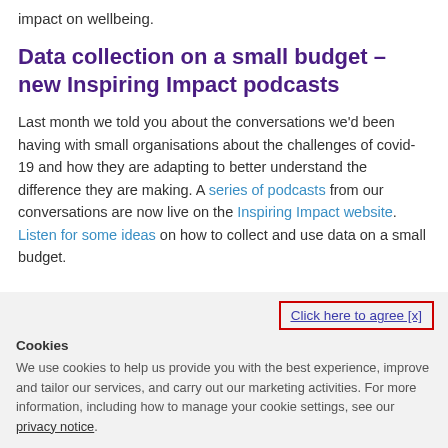impact on wellbeing.
Data collection on a small budget – new Inspiring Impact podcasts
Last month we told you about the conversations we'd been having with small organisations about the challenges of covid-19 and how they are adapting to better understand the difference they are making. A series of podcasts from our conversations are now live on the Inspiring Impact website. Listen for some ideas on how to collect and use data on a small budget.
Click here to agree [x]
Cookies
We use cookies to help us provide you with the best experience, improve and tailor our services, and carry out our marketing activities. For more information, including how to manage your cookie settings, see our privacy notice.